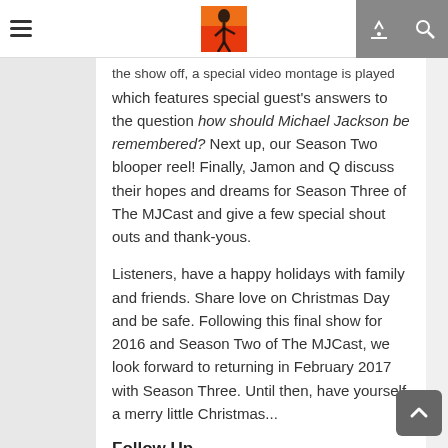Navigation bar with hamburger menu, MJCast logo, and search/link icons
the show off, a special video montage is played which features special guest's answers to the question how should Michael Jackson be remembered? Next up, our Season Two blooper reel! Finally, Jamon and Q discuss their hopes and dreams for Season Three of The MJCast and give a few special shout outs and thank-yous.
Listeners, have a happy holidays with family and friends. Share love on Christmas Day and be safe. Following this final show for 2016 and Season Two of The MJCast, we look forward to returning in February 2017 with Season Three. Until then, have yourself a merry little Christmas...
Follow Up
• Year in review
• Q's Dangerous 25 experiences in Melbourne
News